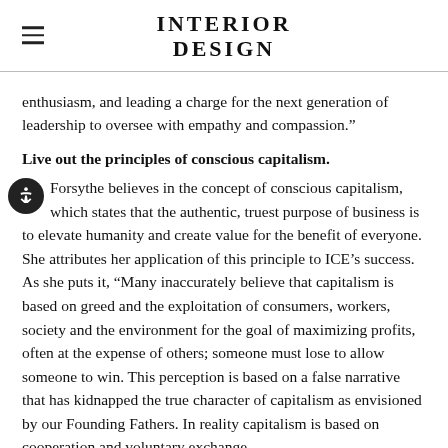INTERIOR DESIGN
enthusiasm, and leading a charge for the next generation of leadership to oversee with empathy and compassion.”
Live out the principles of conscious capitalism.
Forsythe believes in the concept of conscious capitalism, which states that the authentic, truest purpose of business is to elevate humanity and create value for the benefit of everyone. She attributes her application of this principle to ICE’s success. As she puts it, “Many inaccurately believe that capitalism is based on greed and the exploitation of consumers, workers, society and the environment for the goal of maximizing profits, often at the expense of others; someone must lose to allow someone to win. This perception is based on a false narrative that has kidnapped the true character of capitalism as envisioned by our Founding Fathers. In reality capitalism is based on cooperation and voluntary exchange,